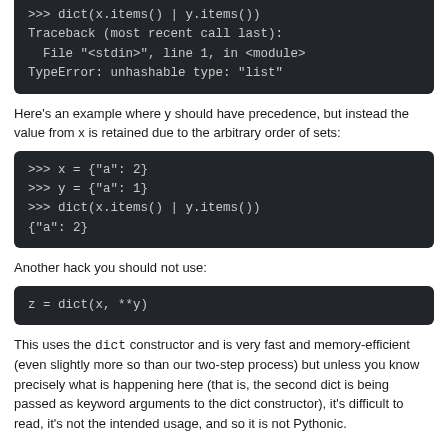[Figure (screenshot): Dark code block showing traceback error: Traceback (most recent call last): File "<stdin>", line 1, in <module> TypeError: unhashable type: "list"]
Here's an example where y should have precedence, but instead the value from x is retained due to the arbitrary order of sets:
[Figure (screenshot): Dark code block showing: >>> x = {"a": 2} >>> y = {"a": 1} >>> dict(x.items() | y.items()) {"a": 2}]
Another hack you should not use:
[Figure (screenshot): Dark code block showing: z = dict(x, **y)]
This uses the dict constructor and is very fast and memory-efficient (even slightly more so than our two-step process) but unless you know precisely what is happening here (that is, the second dict is being passed as keyword arguments to the dict constructor), it's difficult to read, it's not the intended usage, and so it is not Pythonic.